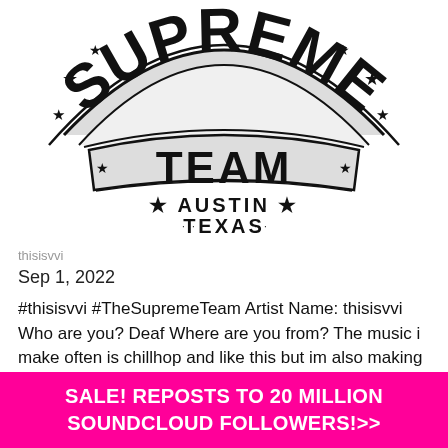[Figure (logo): Supreme Team logo with banner design, stars, and text 'AUSTIN TEXAS' underneath, black and white illustration]
thisisvvi
Sep 1, 2022
#thisisvvi #TheSupremeTeam Artist Name: thisisvvi Who are you? Deaf Where are you from? The music i make often is chillhop and like this but im also making trap beats How can we follow you? Soundcloud Song Title: Serenity Listen to
SALE! REPOSTS TO 20 MILLION SOUNDCLOUD FOLLOWERS!>>